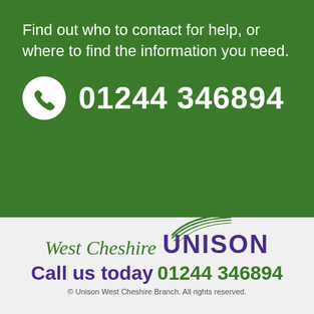Find out who to contact for help, or where to find the information you need.
01244 346894
[Figure (logo): West Cheshire UNISON logo with green swoosh above UNISON text]
Call us today 01244 346894
© Unison West Cheshire Branch. All rights reserved.